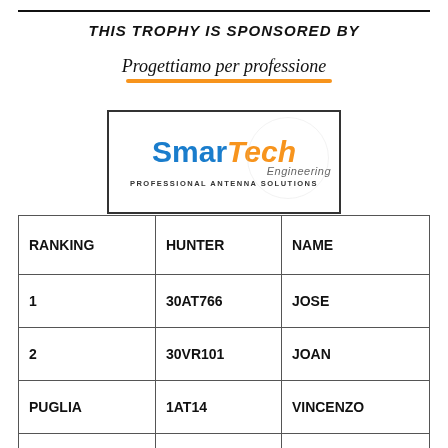THIS TROPHY IS SPONSORED BY
[Figure (logo): SmarTech Engineering logo with text 'PROFESSIONAL ANTENNA SOLUTIONS' and tagline 'Progettiamo per professione']
| RANKING | HUNTER | NAME |
| --- | --- | --- |
| 1 | 30AT766 | JOSE |
| 2 | 30VR101 | JOAN |
| PUGLIA | 1AT14 | VINCENZO |
| 3 | 14CH77 | OLIVIER |